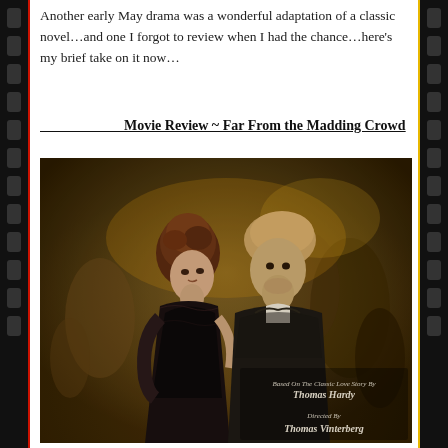Another early May drama was a wonderful adaptation of a classic novel…and one I forgot to review when I had the chance…here's my brief take on it now…
Movie Review ~ Far From the Madding Crowd
[Figure (photo): Movie promotional still/poster for 'Far From the Madding Crowd' showing a woman in a black lace dress and a man in a dark suit looking at each other closely in a crowded ballroom scene. Text overlay reads: 'Based On The Classic Love Story By Thomas Hardy' and 'Directed By Thomas Vinterberg'.]